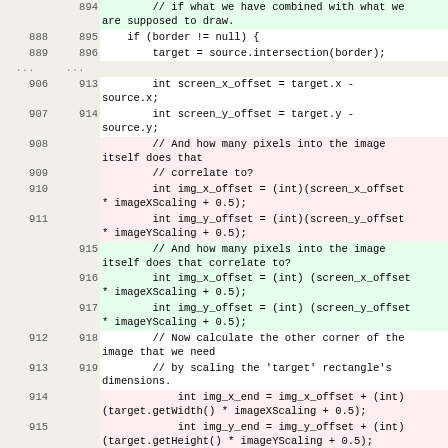| old | new | code |
| --- | --- | --- |
|  | 894 | // if what we have combined with what we are supposed to draw. |
| 888 | 895 | if (border != null) { |
| 889 | 896 |     target = source.intersection(border); |
| ... | ... |  |
| 906 | 913 |     int screen_x_offset = target.x - source.x; |
| 907 | 914 |     int screen_y_offset = target.y - source.y; |
| 908 |  |         // And how many pixels into the image itself does that |
| 909 |  |         // correlate to? |
| 910 |  |         int img_x_offset = (int)(screen_x_offset * imageXScaling + 0.5); |
| 911 |  |         int img_y_offset = (int)(screen_y_offset * imageYScaling + 0.5); |
|  | 915 |         // And how many pixels into the image itself does that correlate to? |
|  | 916 |         int img_x_offset = (int) (screen_x_offset * imageXScaling + 0.5); |
|  | 917 |         int img_y_offset = (int) (screen_y_offset * imageYScaling + 0.5); |
| 912 | 918 |         // Now calculate the other corner of the image that we need |
| 913 | 919 |         // by scaling the 'target' rectangle's dimensions. |
| 914 |  |             int img_x_end = img_x_offset + (int)(target.getWidth() * imageXScaling + 0.5); |
| 915 |  |             int img_y_end = img_y_offset + (int)(target.getHeight() * imageYScaling + 0.5); |
|  | 920 |         int img_x_end = img_x_offset + (int)(target.getWidth() * imageXScaling + 0.5); |
|  | 921 |         int img_y_end = img_y_offset + (int)(target.getHeight() * imageYScaling + 0.5); |